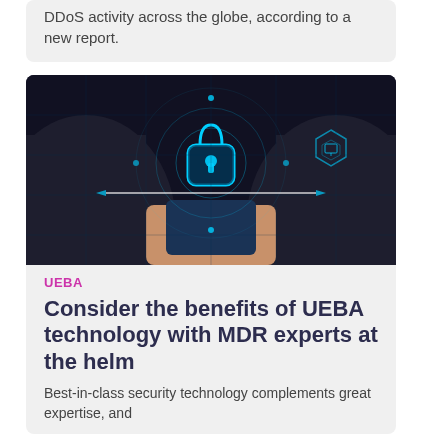DDoS activity across the globe, according to a new report.
[Figure (photo): Person holding a smartphone with a glowing blue digital padlock hologram displayed above it, representing cybersecurity and data protection concepts, with hexagonal network graphics in the background]
UEBA
Consider the benefits of UEBA technology with MDR experts at the helm
Best-in-class security technology complements great expertise, and vice versa. To signify that in...